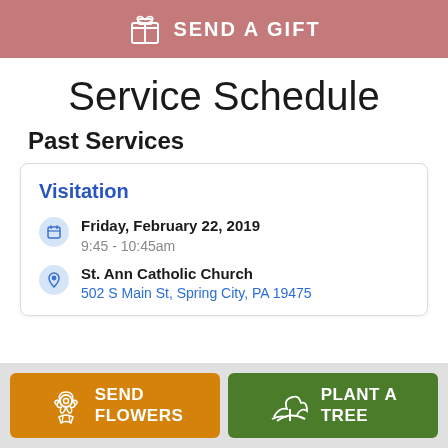[Figure (other): Pink banner with gift box icon and text SEND A GIFT]
Service Schedule
Past Services
Visitation
Friday, February 22, 2019
9:45 - 10:45am
St. Ann Catholic Church
502 S Main St, Spring City, PA 19475
[Figure (other): Bottom bar with orange SEND FLOWERS button and green PLANT A TREE button]